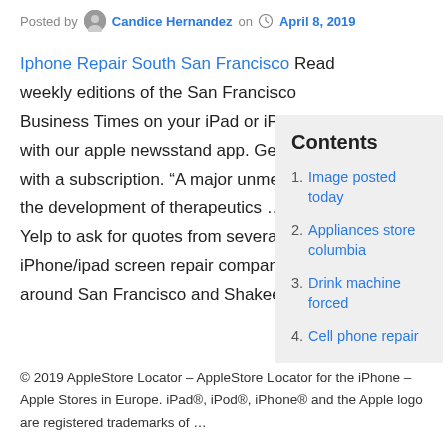Posted by Candice Hernandez on April 8, 2019
Iphone Repair South San Francisco Read weekly editions of the San Francisco Business Times on your iPad or iPhone with our apple newsstand app. Get it FREE with a subscription. “A major unmet need in the development of therapeutics … I used Yelp to ask for quotes from several iPhone/ipad screen repair companies around San Francisco and Shakeel came in
Contents
Image posted today
Appliances store columbia
Drink machine forced
Cell phone repair
© 2019 AppleStore Locator – AppleStore Locator for the iPhone – Apple Stores in Europe. iPad®, iPod®, iPhone® and the Apple logo are registered trademarks of …